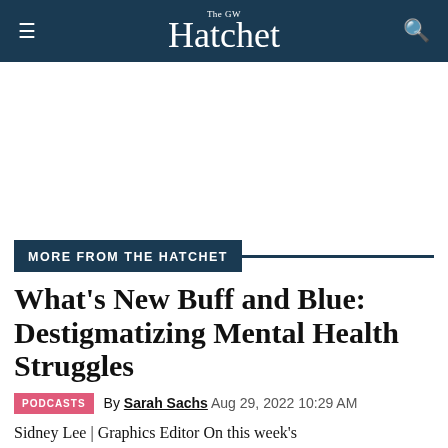The GW Hatchet
MORE FROM THE HATCHET
What's New Buff and Blue: Destigmatizing Mental Health Struggles
PODCASTS  By Sarah Sachs  Aug 29, 2022 10:29 AM
Sidney Lee | Graphics Editor On this week's